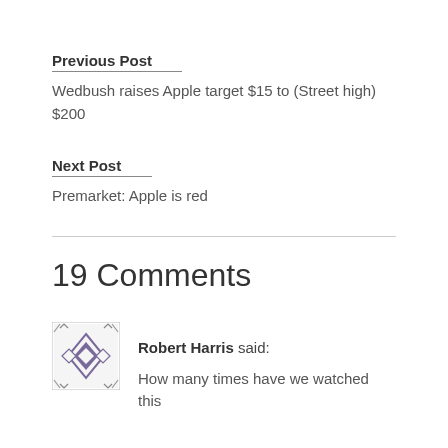Previous Post
Wedbush raises Apple target $15 to (Street high) $200
Next Post
Premarket: Apple is red
19 Comments
Robert Harris said:
How many times have we watched this